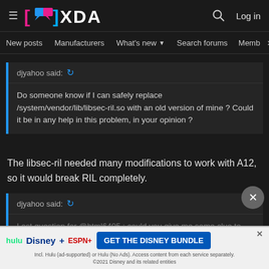XDA Developers — New posts | Manufacturers | What's new | Search forums | Members
djyahoo said: ↩
Do someone know if I can safely replace /system/vendor/lib/libsec-ril.so with an old version of mine ? Could it be in any help in this problem, in your opinion ?
The libsec-ril needed many modifications to work with A12, so it would break RIL completely.
djyahoo said: ↩
Last question for @html6405 : could you give me some clue to install Magisk ? Is it possible to install it long after having installed the rom ? Do I need... website for Sam... sure about...
[Figure (screenshot): Disney Bundle advertisement banner: Hulu, Disney+, ESPN+ logos with 'GET THE DISNEY BUNDLE' call to action button. Fine print: Incl. Hulu (ad-supported) or Hulu (No Ads). Access content from each service separately. ©2021 Disney and its related entities]